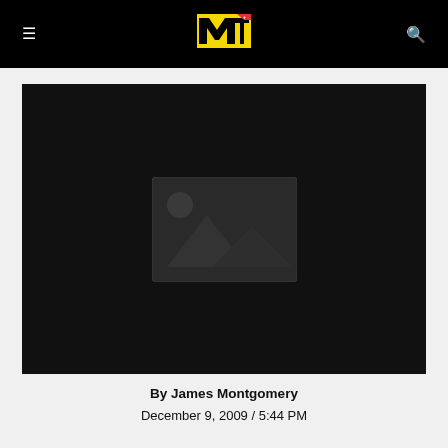MTV
[Figure (photo): Placeholder image with mountains and sun icon on dark background]
By James Montgomery
December 9, 2009 / 5:44 PM